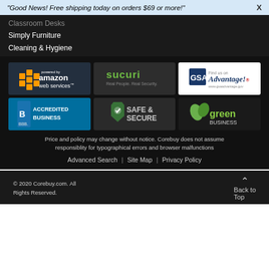"Good News! Free shipping today on orders $69 or more!"
Classroom Desks
Simply Furniture
Cleaning & Hygiene
[Figure (logo): Amazon Web Services powered by logo]
[Figure (logo): Sucuri Real People. Real Security. logo]
[Figure (logo): GSA Advantage! Find us on logo]
[Figure (logo): BBB Accredited Business logo]
[Figure (logo): Safe & Secure logo]
[Figure (logo): Green Business logo]
Price and policy may change without notice. Corebuy does not assume responsiblity for typographical errors and browser malfunctions
Advanced Search  |  Site Map  |  Privacy Policy
© 2020 Corebuy.com. All Rights Reserved.